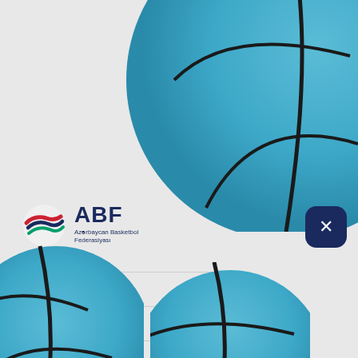[Figure (photo): Blue basketball partially visible in top-right corner of page]
[Figure (logo): ABF - Azərbaycan Basketbol Federasiyası logo with stylized flag icon and bold text]
News
Federasiya
National Team
Contact
[Figure (photo): Blue basketball partially visible at bottom-left corner]
[Figure (photo): Blue basketball partially visible at bottom-right area]